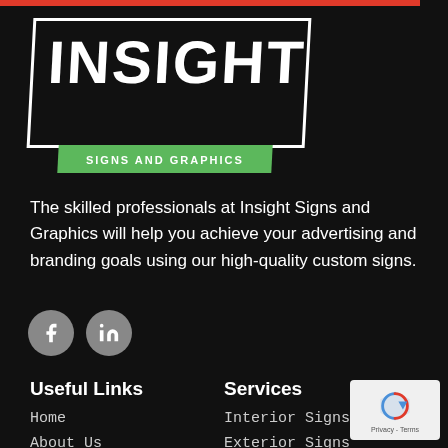[Figure (logo): Insight Signs and Graphics logo — white rectangular outlined box with bold white text 'INSIGHT' and green banner below reading 'SIGNS AND GRAPHICS']
The skilled professionals at Insight Signs and Graphics will help you achieve your advertising and branding goals using our high-quality custom signs.
[Figure (other): Social media icons: Facebook and LinkedIn, grey circular buttons]
Useful Links
Services
Home
About Us
Interior Signs
Exterior Signs